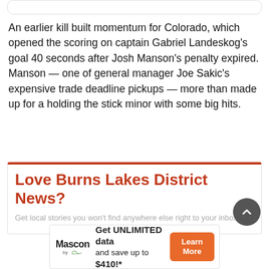An earlier kill built momentum for Colorado, which opened the scoring on captain Gabriel Landeskog's goal 40 seconds after Josh Manson's penalty expired. Manson — one of general manager Joe Sakic's expensive trade deadline pickups — more than made up for a holding the stick minor with some big hits.
Love Burns Lakes District News?
Get local stories you won't find anywhere else right to your inbox.
[Figure (infographic): Mascon by TELUS advertisement banner: 'Get UNLIMITED data and save up to $410!*' with a Learn More button]